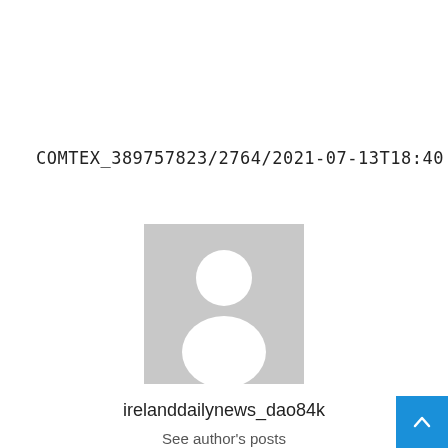COMTEX_389757823/2764/2021-07-13T18:40:52
[Figure (illustration): Generic user avatar placeholder image — grey square with white silhouette of a person (circle head, rounded body)]
irelanddailynews_dao84k
See author's posts